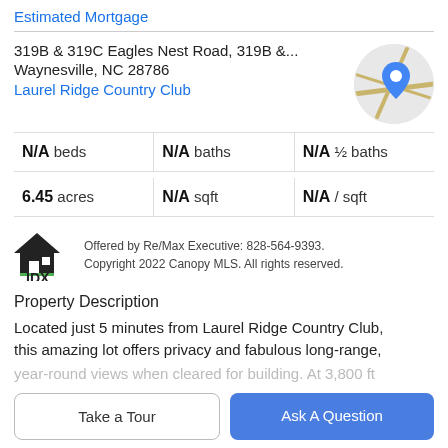Estimated Mortgage
319B & 319C Eagles Nest Road, 319B &...
Waynesville, NC 28786
Laurel Ridge Country Club
[Figure (map): Circular map thumbnail with a blue location pin marker on a road map background]
|  |  |  |
| --- | --- | --- |
| N/A beds | N/A baths | N/A ½ baths |
| 6.45 acres | N/A sqft | N/A / sqft |
[Figure (logo): IDX logo with house icon and IDX text]
Offered by Re/Max Executive: 828-564-9393. Copyright 2022 Canopy MLS. All rights reserved.
Property Description
Located just 5 minutes from Laurel Ridge Country Club, this amazing lot offers privacy and fabulous long-range,
year-round views when cleared for building. At 3,800 ft
Take a Tour
Ask A Question